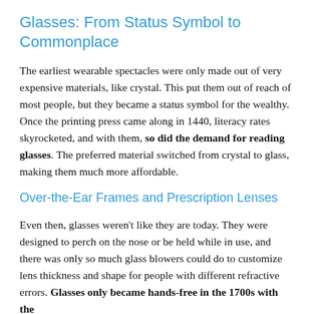Glasses: From Status Symbol to Commonplace
The earliest wearable spectacles were only made out of very expensive materials, like crystal. This put them out of reach of most people, but they became a status symbol for the wealthy. Once the printing press came along in 1440, literacy rates skyrocketed, and with them, so did the demand for reading glasses. The preferred material switched from crystal to glass, making them much more affordable.
Over-the-Ear Frames and Prescription Lenses
Even then, glasses weren't like they are today. They were designed to perch on the nose or be held while in use, and there was only so much glass blowers could do to customize lens thickness and shape for people with different refractive errors. Glasses only became hands-free in the 1700s with the